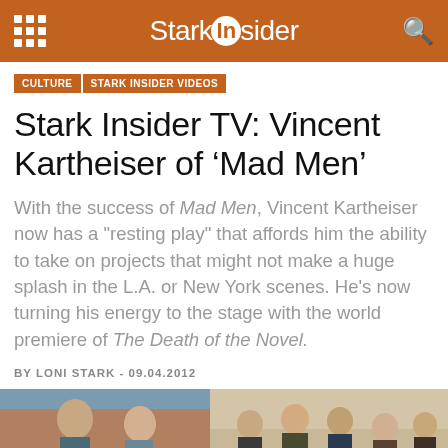Stark Insider
CULTURE
STARK INSIDER VIDEOS
Stark Insider TV: Vincent Kartheiser of ‘Mad Men’
With the success of Mad Men, Vincent Kartheiser now has a "resting play" that affords him the ability to take on projects that might not make a huge splash in the L.A. or New York scenes. He’s now turning his energy to the stage with the world premiere of The Death of the Novel.
BY LONI STARK - 09.04.2012
[Figure (photo): Two photos side by side: left shows two people in an indoor scene; right shows a group of people (Mad Men cast) standing together.]